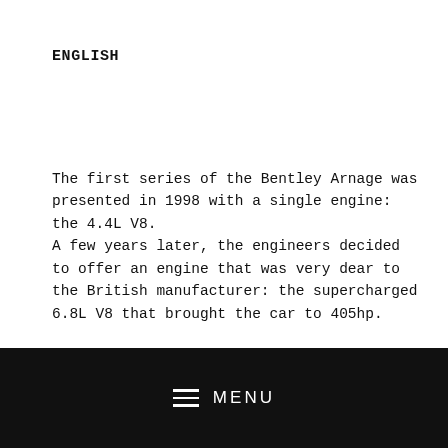ENGLISH
The first series of the Bentley Arnage was presented in 1998 with a single engine: the 4.4L V8.
A few years later, the engineers decided to offer an engine that was very dear to the British manufacturer: the supercharged 6.8L V8 that brought the car to 405hp.
The car we propose is the "T" version in which the fantastic V8 was raised to 457hp. The specimen was ordered in the
the previous owners who have covered a total of 100,000km.